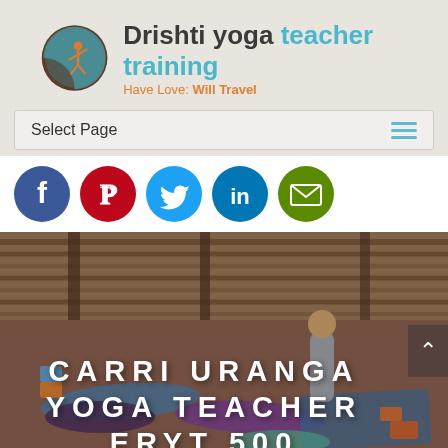[Figure (logo): Drishti yoga teacher training logo with circular emblem showing yoga figure in orange and teal, with text 'Drishti yoga teacher training' and tagline 'Have Love: Will Travel']
Select Page
[Figure (infographic): Row of five social media icon circles: Facebook (dark blue), Pinterest (red), Twitter (light blue), LinkedIn (blue), Email/envelope (green)]
[Figure (photo): Yoga teacher training session in an open-air studio with thatched roof. A teacher assists a student in a forward fold pose while others practice on blue and purple mats. Yoga blocks visible.]
CARRI URANGA YOGA TEACHER ERYT 500